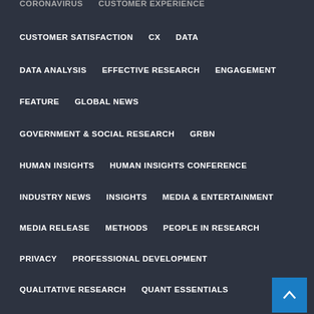CORONAVIRUS   CUSTOMER EXPERIENCE
CUSTOMER SATISFACTION   CX   DATA
DATA ANALYSIS   EFFECTIVE RESEARCH   ENGAGEMENT
FEATURE   GLOBAL NEWS
GOVERNMENT & SOCIAL RESEARCH   GRBN
HUMAN INSIGHTS   HUMAN INSIGHTS CONFERENCE
INDUSTRY NEWS   INSIGHTS   MEDIA & ENTERTAINMENT
MEDIA RELEASE   METHODS   PEOPLE IN RESEARCH
PRIVACY   PROFESSIONAL DEVELOPMENT
QUALITATIVE RESEARCH   QUANT ESSENTIALS
RESEARCH AWARDS   RESEARCH ETHICS   RESPONDENTS
SOCIAL RESEARCH   SOCIAL RESPONSIBILITY
STATE OF THE INDUSTRY   SURVEY   TECHNOLOGY